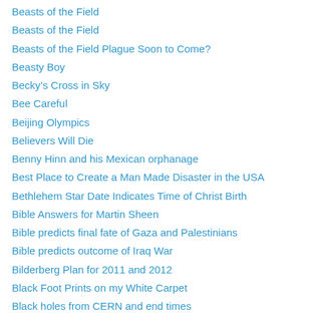Beasts of the Field
Beasts of the Field
Beasts of the Field Plague Soon to Come?
Beasty Boy
Becky’s Cross in Sky
Bee Careful
Beijing Olympics
Believers Will Die
Benny Hinn and his Mexican orphanage
Best Place to Create a Man Made Disaster in the USA
Bethlehem Star Date Indicates Time of Christ Birth
Bible Answers for Martin Sheen
Bible predicts final fate of Gaza and Palestinians
Bible predicts outcome of Iraq War
Bilderberg Plan for 2011 and 2012
Black Foot Prints on my White Carpet
Black holes from CERN and end times
Blackjack – game or real?
Blessed and Not Blessed
Blessing Yourself with Yahweh God’s Money